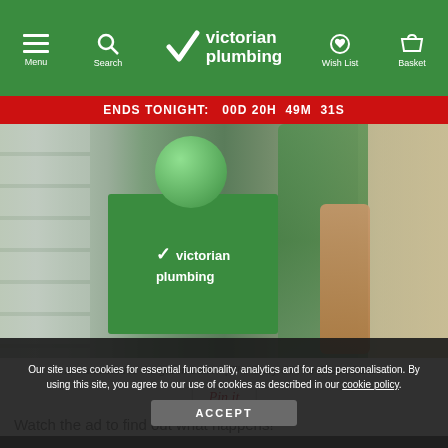Menu | Search | victorian plumbing | Wish List | Basket
ENDS TONIGHT: 00D 20H 49M 31S
[Figure (photo): Warehouse scene showing a green Victorian Plumbing branded box with a green ball on top, shelf racks in background, person's arm visible on right]
Ian attracted to the green button | The Story Of The Green Button
[Figure (other): Pin it button]
Watch the ad to find out what happens!
Our site uses cookies for essential functionality, analytics and for ads personalisation. By using this site, you agree to our use of cookies as described in our cookie policy.
ACCEPT